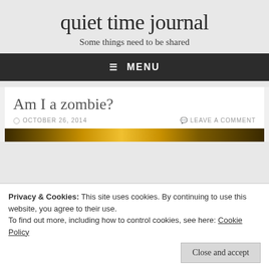quiet time journal
Some things need to be shared
≡ MENU
Am I a zombie?
OCTOBER 26, 2014    LEAVE A COMMENT
[Figure (photo): Dark golden background image strip]
Privacy & Cookies: This site uses cookies. By continuing to use this website, you agree to their use.
To find out more, including how to control cookies, see here: Cookie Policy
Close and accept